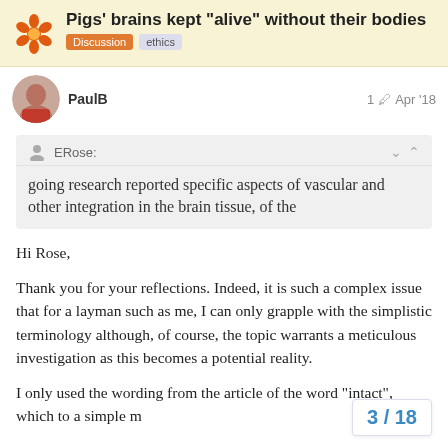Pigs' brains kept “alive” without their bodies
Discussion ethics
PaulB
1 Apr '18
ERose:
going research reported specific aspects of vascular and other integration in the brain tissue, of the
Hi Rose,
Thank you for your reflections. Indeed, it is such a complex issue that for a layman such as me, I can only grapple with the simplistic terminology although, of course, the topic warrants a meticulous investigation as this becomes a potential reality.
I only used the wording from the article of the word “intact”, which to a simple m
3 / 18